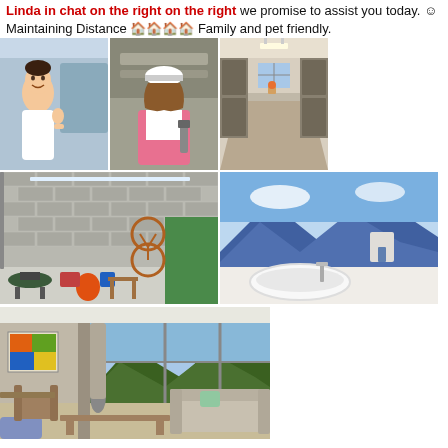Linda in chat on the right on the right we promise to assist you today. ☺ Maintaining Distance 🏠🏠🏠🏠 Family and pet friendly.
[Figure (photo): Man in white work uniform giving thumbs up near a van]
[Figure (photo): Woman in hard hat and pink shirt holding tools in a warehouse/construction setting]
[Figure (photo): Modern kitchen interior with stone floor and long counters]
[Figure (photo): Garage interior with brick walls, bicycle, BBQ grill, and various equipment]
[Figure (photo): Modern bathroom with freestanding bathtub and panoramic mountain view]
[Figure (photo): Modern living room with large windows showing mountain and forest views, fireplace, and contemporary furniture]